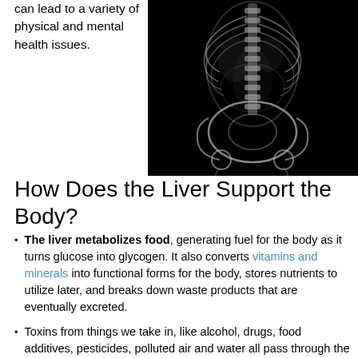can lead to a variety of physical and mental health issues.
[Figure (photo): X-ray style anatomical image of a human torso showing skeletal and organ structures in white/gray on black background, front view focusing on spine, pelvis, and internal organs.]
How Does the Liver Support the Body?
The liver metabolizes food, generating fuel for the body as it turns glucose into glycogen. It also converts vitamins and minerals into functional forms for the body, stores nutrients to utilize later, and breaks down waste products that are eventually excreted.
Toxins from things we take in, like alcohol, drugs, food additives, pesticides, polluted air and water all pass through the liver. This busy organ filters harmful substances from the blood while altering